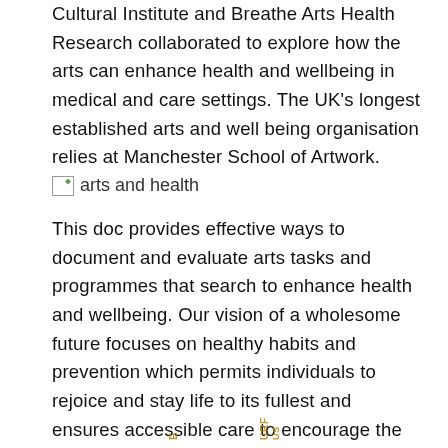Cultural Institute and Breathe Arts Health Research collaborated to explore how the arts can enhance health and wellbeing in medical and care settings. The UK's longest established arts and well being organisation relies at Manchester School of Artwork.
[Figure (illustration): Broken image placeholder with alt text 'arts and health']
This doc provides effective ways to document and evaluate arts tasks and programmes that search to enhance health and wellbeing. Our vision of a wholesome future focuses on healthy habits and prevention which permits individuals to rejoice and stay life to its fullest and ensures accessible care to encourage the best health outcomes.
Footer logos / branding marks at bottom of page